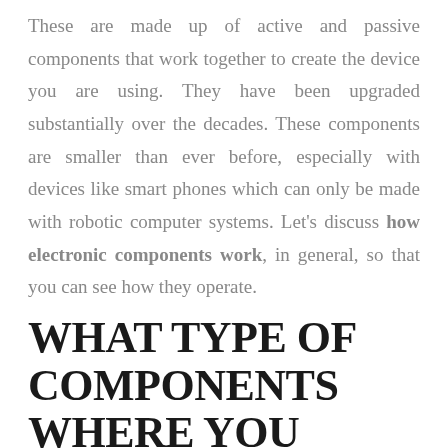These are made up of active and passive components that work together to create the device you are using. They have been upgraded substantially over the decades. These components are smaller than ever before, especially with devices like smart phones which can only be made with robotic computer systems. Let's discuss how electronic components work, in general, so that you can see how they operate.
WHAT TYPE OF COMPONENTS WHERE YOU